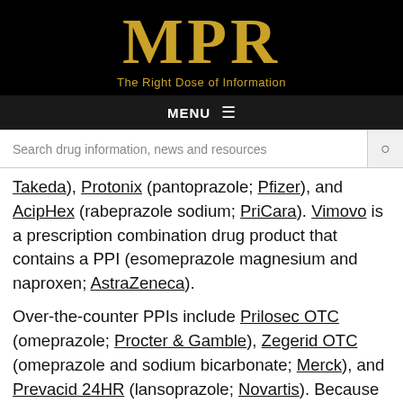MPR — The Right Dose of Information
MENU
Search drug information, news and resources
Takeda), Protonix (pantoprazole; Pfizer), and AcipHex (rabeprazole sodium; PriCara). Vimovo is a prescription combination drug product that contains a PPI (esomeprazole magnesium and naproxen; AstraZeneca).
Over-the-counter PPIs include Prilosec OTC (omeprazole; Procter & Gamble), Zegerid OTC (omeprazole and sodium bicarbonate; Merck), and Prevacid 24HR (lansoprazole; Novartis). Because OTC PPIs are marketed at low doses and are only intended for a 14-day course of treatment up to